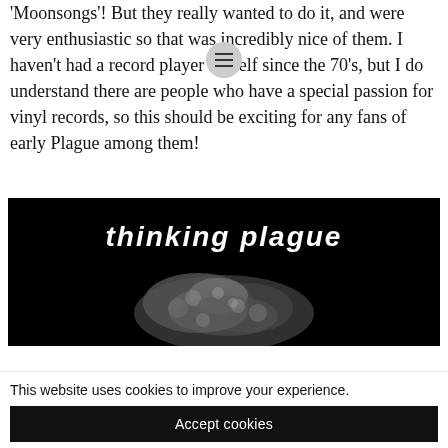'Moonsongs'! But they really wanted to do it, and were very enthusiastic so that was incredibly nice of them. I haven't had a record player myself since the 70's, but I do understand there are people who have a special passion for vinyl records, so this should be exciting for any fans of early Plague among them!
[Figure (photo): Black and white album image with 'thinking plague' text in white handwritten font at the top, and a textured creature/sculpture below on a black background.]
This website uses cookies to improve your experience.
Accept cookies